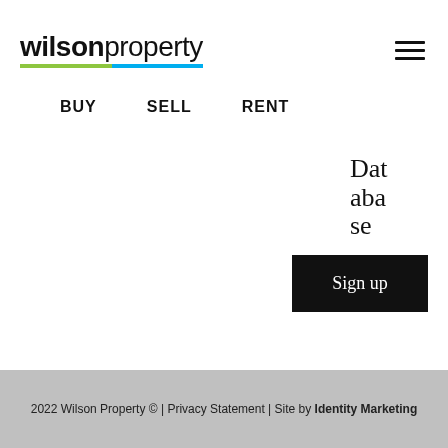[Figure (logo): Wilson Property logo with bold 'wilson' and thin 'property' text, green and blue underline stripe]
BUY   SELL   RENT
Database
Sign up
2022 Wilson Property © | Privacy Statement | Site by Identity Marketing